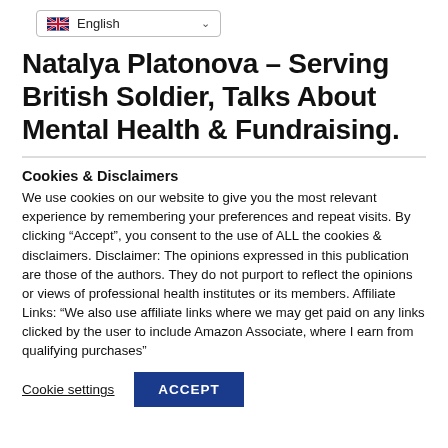English
Natalya Platonova – Serving British Soldier, Talks About Mental Health & Fundraising.
Cookies & Disclaimers
We use cookies on our website to give you the most relevant experience by remembering your preferences and repeat visits. By clicking "Accept", you consent to the use of ALL the cookies & disclaimers. Disclaimer: The opinions expressed in this publication are those of the authors. They do not purport to reflect the opinions or views of professional health institutes or its members. Affiliate Links: "We also use affiliate links where we may get paid on any links clicked by the user to include Amazon Associate, where I earn from qualifying purchases"
Cookie settings
ACCEPT